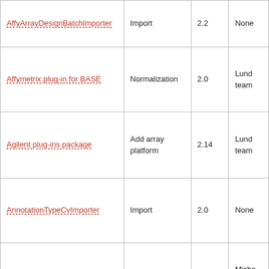| AffyArrayDesignBatchImporter | Import | 2.2 | None |
| Affymetrix plug-in for BASE | Normalization | 2.0 | Lund team |
| Agilent plug-ins package | Add array platform | 2.14 | Lund team |
| AnnotationTypeCvImporter | Import | 2.0 | None |
| BatchDataImporter | Import | 2.2 | Micha Bayer |